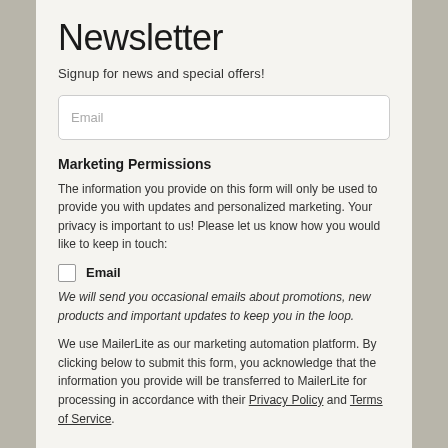Newsletter
Signup for news and special offers!
Email
Marketing Permissions
The information you provide on this form will only be used to provide you with updates and personalized marketing. Your privacy is important to us! Please let us know how you would like to keep in touch:
Email
We will send you occasional emails about promotions, new products and important updates to keep you in the loop.
We use MailerLite as our marketing automation platform. By clicking below to submit this form, you acknowledge that the information you provide will be transferred to MailerLite for processing in accordance with their Privacy Policy and Terms of Service.